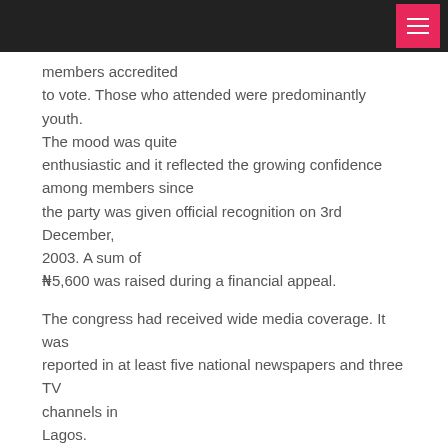members accredited to vote. Those who attended were predominantly youth. The mood was quite enthusiastic and it reflected the growing confidence among members since the party was given official recognition on 3rd December, 2003. A sum of ₦5,600 was raised during a financial appeal.
The congress had received wide media coverage. It was reported in at least five national newspapers and three TV channels in Lagos.
The governorship nomination was won by Lateef Abassi, a pro-democracy activist and an officer of the party who